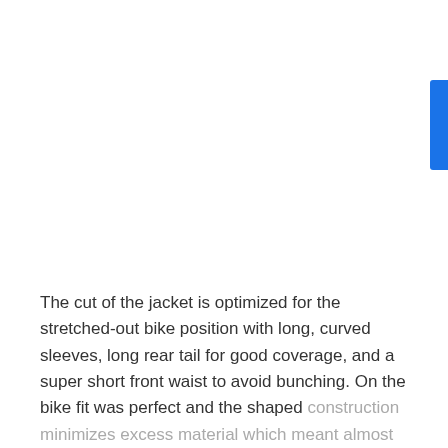The cut of the jacket is optimized for the stretched-out bike position with long, curved sleeves, long rear tail for good coverage, and a super short front waist to avoid bunching. On the bike fit was perfect and the shaped construction minimizes excess material which meant almost no flapping noises. Again, there is a chest velcro closure but this time it went undone and never...